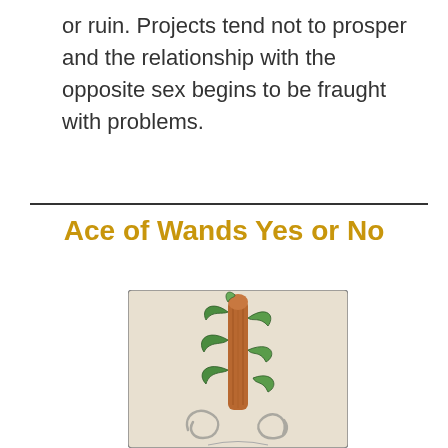or ruin. Projects tend not to prosper and the relationship with the opposite sex begins to be fraught with problems.
Ace of Wands Yes or No
[Figure (illustration): Tarot card illustration of the Ace of Wands: a wooden staff or wand with sprouting green leaves against a light background, with decorative swirling elements at the bottom.]